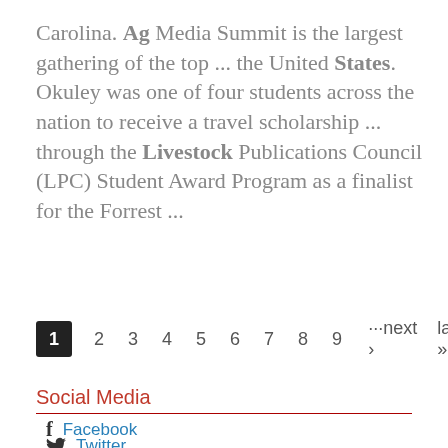Carolina. Ag Media Summit is the largest gathering of the top ... the United States. Okuley was one of four students across the nation to receive a travel scholarship ... through the Livestock Publications Council (LPC) Student Award Program as a finalist for the Forrest ...
1 2 3 4 5 6 7 8 9 ···next › last »
Social Media
Facebook
Twitter